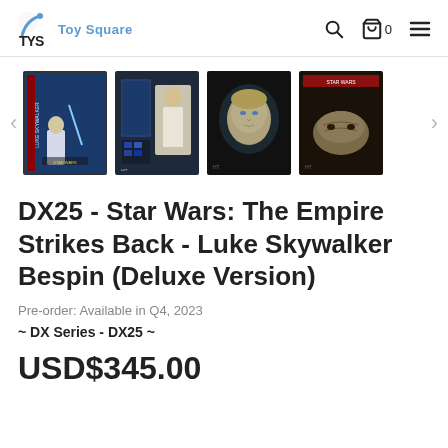TYS Toy Square
[Figure (photo): Product image gallery showing 4 thumbnails of DX25 Luke Skywalker Bespin figure. First thumbnail is selected (with border), showing the figure in Bespin outfit with lightsaber on blue background. Second shows packaging and figure. Third shows a close-up of the head sculpt. Fourth shows an accessory item. Navigation arrows on each side.]
DX25 - Star Wars: The Empire Strikes Back - Luke Skywalker Bespin (Deluxe Version)
Pre-order: Available in Q4, 2023
~ DX Series - DX25 ~
USD$345.00